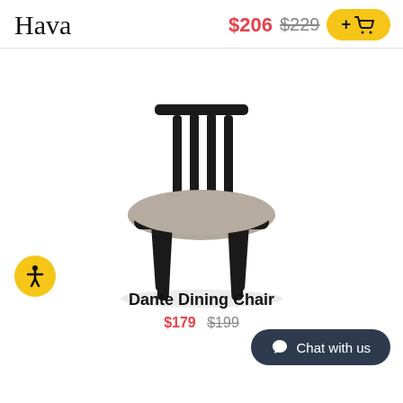Hava   $206  $229  +cart
[Figure (photo): A black wooden dining chair with a gray upholstered seat, mid-century modern style with vertical slat back and tapered legs, shown on a white background.]
Dante Dining Chair
$179  $199